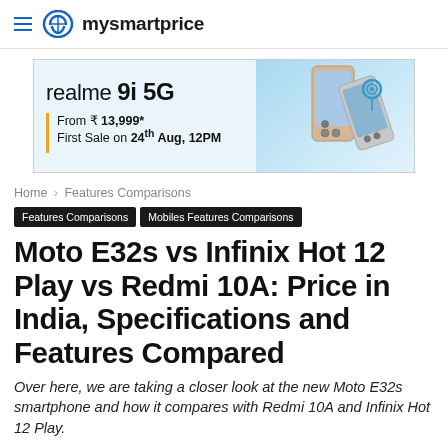mysmartprice
[Figure (illustration): Advertisement banner for realme 9i 5G smartphone. Text: realme 9i 5G, From ₹ 13,999*, First Sale on 24th Aug, 12PM. Shows phone image on blue/light background.]
Home › Features Comparisons
Features Comparisons   Mobiles Features Comparisons
Moto E32s vs Infinix Hot 12 Play vs Redmi 10A: Price in India, Specifications and Features Compared
Over here, we are taking a closer look at the new Moto E32s smartphone and how it compares with Redmi 10A and Infinix Hot 12 Play.